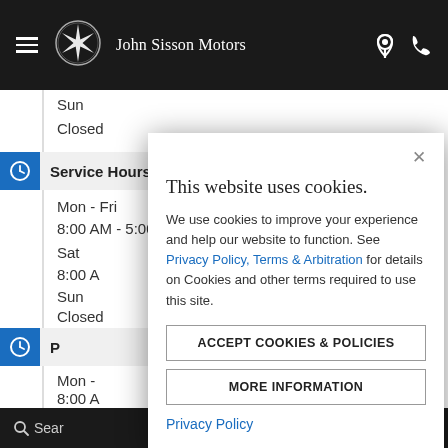John Sisson Motors
Sun
Closed
Service Hours:
Mon - Fri
8:00 AM - 5:00 PM
Sat
8:00 A
Sun
Closed
P
Mon -
8:00 A
Sat
8:00 A
Sun
[Figure (screenshot): Cookie consent modal dialog with title 'This website uses cookies.', body text about cookies and a link to Privacy Policy, Terms & Arbitration, two buttons: ACCEPT COOKIES & POLICIES and MORE INFORMATION, and a Privacy Policy link at the bottom.]
Search   Contact